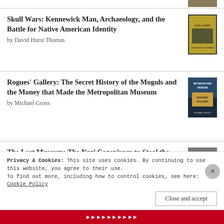Skull Wars: Kennewick Man, Archaeology, and the Battle for Native American Identity by David Hurst Thomas
Rogues' Gallery: The Secret History of the Moguls and the Money that Made the Metropolitan Museum by Michael Gross
The Lost Museum: The Nazi Conspiracy to Steal the World's Greatest Works of Art by Hector Feliciano
Making the Mummies Dance: Inside the Metropolitan Museum of Art by Thomas Hoving
Privacy & Cookies: This site uses cookies. By continuing to use this website, you agree to their use. To find out more, including how to control cookies, see here: Cookie Policy